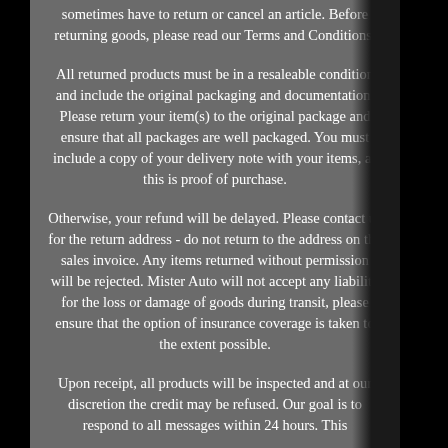sometimes have to return or cancel an article. Before returning goods, please read our Terms and Conditions.
All returned products must be in a resaleable condition and include the original packaging and documentation. Please return your item(s) to the original package and ensure that all packages are well packaged. You must include a copy of your delivery note with your items, as this is proof of purchase.
Otherwise, your refund will be delayed. Please contact us for the return address - do not return to the address on the sales invoice. Any items returned without permission will be rejected. Mister Auto will not accept any liability for the loss or damage of goods during transit, please ensure that the option of insurance coverage is taken to the extent possible.
Upon receipt, all products will be inspected and at our discretion the credit may be refused. Our goal is to respond to all messages within 24 hours. This